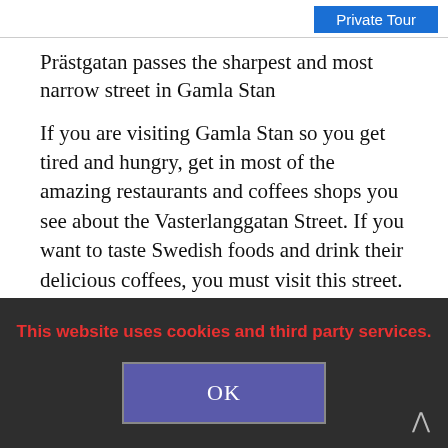Private Tour
Prästgatan passes the sharpest and most narrow street in Gamla Stan
If you are visiting Gamla Stan so you get tired and hungry, get in most of the amazing restaurants and coffees shops you see about the Vasterlanggatan Street. If you want to taste Swedish foods and drink their delicious coffees, you must visit this street.
Final W...
This website uses cookies and third party services.
OK